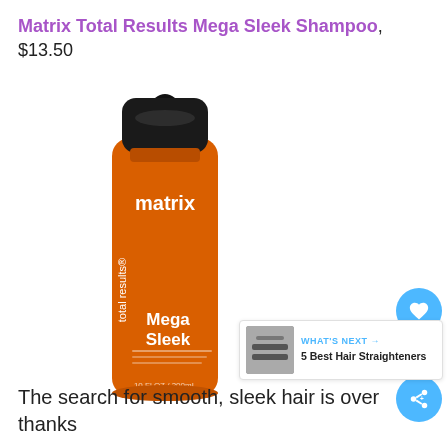Matrix Total Results Mega Sleek Shampoo, $13.50
[Figure (photo): Orange and black Matrix Total Results Mega Sleek Shampoo bottle with black flip cap, orange body with white 'matrix total results Mega Sleek' text]
The search for smooth, sleek hair is over thanks